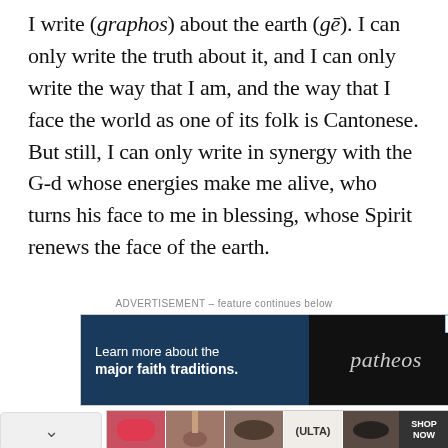I write (graphos) about the earth (gē). I can only write the truth about it, and I can only write the way that I am, and the way that I face the world as one of its folk is Cantonese. But still, I can only write in synergy with the G-d whose energies make me alive, who turns his face to me in blessing, whose Spirit renews the face of the earth.
ADVERTISEMENT – feature continues below
[Figure (infographic): Advertisement banner: left side dark blue with text 'Learn more about the major faith traditions.' Right side black with 'patheos' in stylized italic gray text. X close button top right.]
[Figure (infographic): Bottom advertisement banner showing beauty/makeup product images (lips, brushes, eyes) with ULTA logo and SHOP NOW button on dark background.]